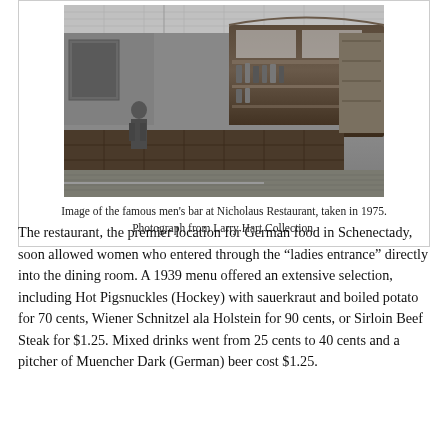[Figure (photo): Black and white photograph of the interior of the men's bar at Nicholaus Restaurant, showing a long wooden bar counter with a bartender, ornate bar fixtures, and ceiling details. Taken in 1975.]
Image of the famous men's bar at Nicholaus Restaurant, taken in 1975. Photograph from Larry Hart Collection.
The restaurant, the premier location for German food in Schenectady, soon allowed women who entered through the “ladies entrance” directly into the dining room. A 1939 menu offered an extensive selection, including Hot Pigsnuckles (Hockey) with sauerkraut and boiled potato for 70 cents, Wiener Schnitzel ala Holstein for 90 cents, or Sirloin Beef Steak for $1.25. Mixed drinks went from 25 cents to 40 cents and a pitcher of Muencher Dark (German) beer cost $1.25.